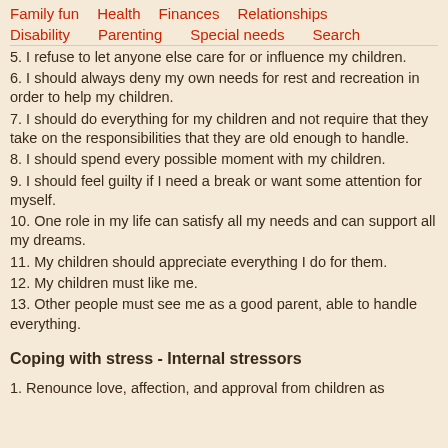Family fun    Health    Finances    Relationships
Disability    Parenting    Special needs    Search
5. I refuse to let anyone else care for or influence my children.
6. I should always deny my own needs for rest and recreation in order to help my children.
7. I should do everything for my children and not require that they take on the responsibilities that they are old enough to handle.
8. I should spend every possible moment with my children.
9. I should feel guilty if I need a break or want some attention for myself.
10. One role in my life can satisfy all my needs and can support all my dreams.
11. My children should appreciate everything I do for them.
12. My children must like me.
13. Other people must see me as a good parent, able to handle everything.
Coping with stress - Internal stressors
1. Renounce love, affection, and approval from children as